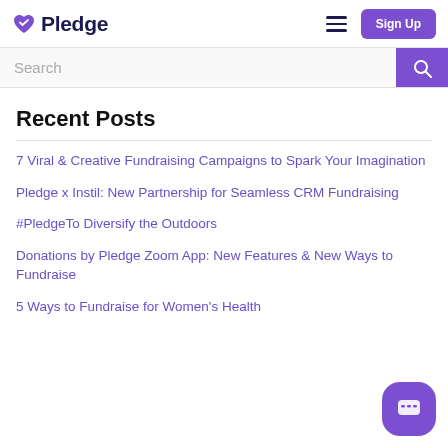Pledge — Sign Up
Search
Recent Posts
7 Viral & Creative Fundraising Campaigns to Spark Your Imagination
Pledge x Instil: New Partnership for Seamless CRM Fundraising
#PledgeTo Diversify the Outdoors
Donations by Pledge Zoom App: New Features & New Ways to Fundraise
5 Ways to Fundraise for Women's Health